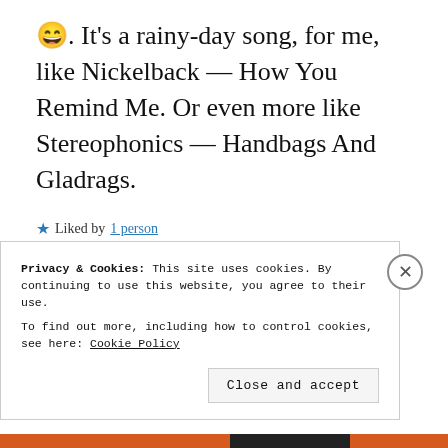😄. It's a rainy-day song, for me, like Nickelback — How You Remind Me. Or even more like Stereophonics — Handbags And Gladrags.
★ Liked by 1 person
Reply
Privacy & Cookies: This site uses cookies. By continuing to use this website, you agree to their use.
To find out more, including how to control cookies, see here: Cookie Policy
Close and accept